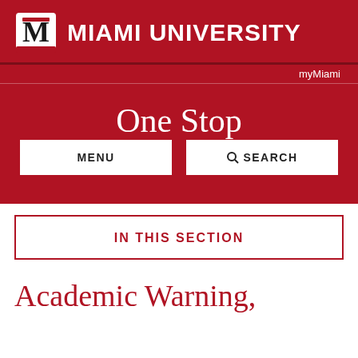[Figure (logo): Miami University logo with M in red and black shield, followed by MIAMI UNIVERSITY text in white on red background]
myMiami
One Stop
MENU
SEARCH
IN THIS SECTION
Academic Warning,